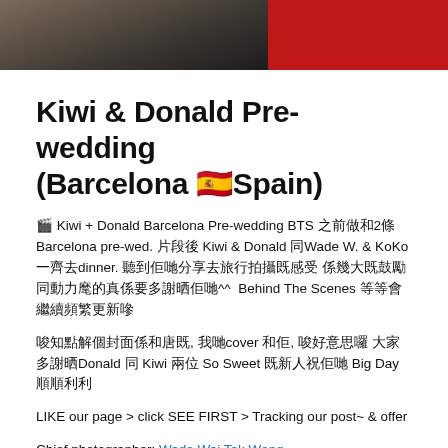[Figure (photo): Top portion of a photo showing people in dark and red clothing, cropped at the bottom. Part of a pre-wedding photo shoot.]
Kiwi & Donald Pre-wedding (Barcelona 🇪🇸Spain)
🎬 Kiwi + Donald Barcelona Pre-wedding BTS 之前做咗2條Barcelona pre-wed. 片段後 Kiwi & Donald 同Wade W. & KoKo 一齊去dinner. 聽到佢哋分享去旅行拍攝既感受 係幾大既鼓勵同動力黎的真係要多謝晒佢哋^^  Behind The Scenes 等等會繼續頻繁更新㗎
唔知點解個封面係咁既, 我哋cover 咗佢, 唔好意思喇 大家多謝晒Donald 同 Kiwi 兩位 So Sweet 既新人祝佢哋 Big Day 順順利利
LIKE our page > click SEE FIRST > Tracking our post~ & offer
Chief photographer: Wade Wai Tak Wong
MUA: Jaikoko from Koko Lai - Lavinia Bride Makeup